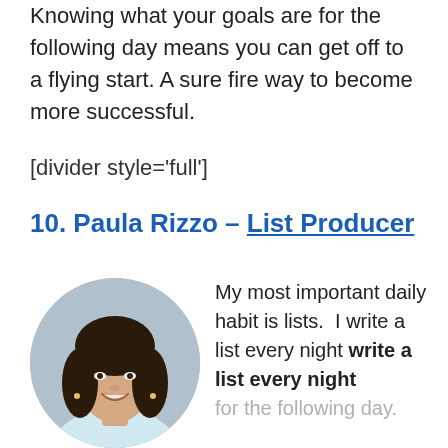Knowing what your goals are for the following day means you can get off to a flying start. A sure fire way to become more successful.
[divider style='full']
10. Paula Rizzo – List Producer
[Figure (photo): Circular portrait photo of Paula Rizzo, a woman with dark hair, smiling, wearing earrings, photographed indoors.]
My most important daily habit is lists.  I write a list every night for the following day.